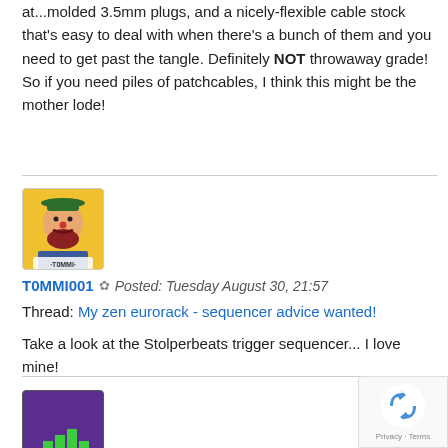at...molded 3.5mm plugs, and a nicely-flexible cable stock that's easy to deal with when there's a bunch of them and you need to get past the tangle. Definitely NOT throwaway grade! So if you need piles of patchcables, I think this might be the mother lode!
[Figure (photo): Avatar of user T0MMI001 - illustrated portrait of a bearded man with a hat on a yellow/orange background, label says TOMMI at the bottom]
T0MMI001 ✿ Posted: Tuesday August 30, 21:57
Thread: My zen eurorack - sequencer advice wanted!
Take a look at the Stolperbeats trigger sequencer... I love mine!
[Figure (photo): Avatar showing a pixel-art style image with purple background and green pixel graphic]
[Figure (other): reCAPTCHA badge with recycling-arrows icon and Privacy/Terms text]